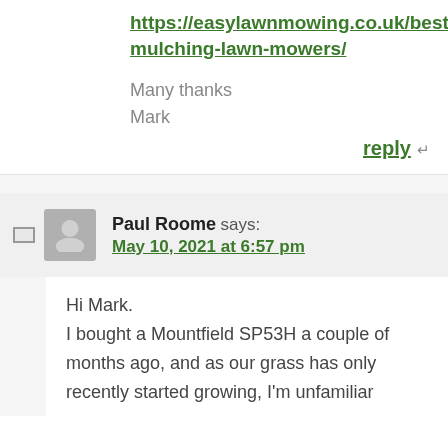https://easylawnmowing.co.uk/best-mulching-lawn-mowers/
Many thanks
Mark
reply
Paul Roome says:
May 10, 2021 at 6:57 pm
Hi Mark.
I bought a Mountfield SP53H a couple of months ago, and as our grass has only recently started growing, I'm unfamiliar